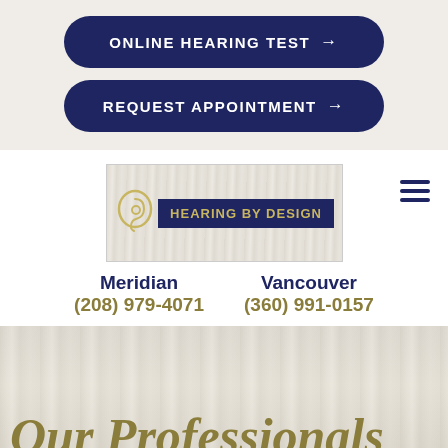ONLINE HEARING TEST →
REQUEST APPOINTMENT →
[Figure (logo): Hearing By Design logo with ear icon and dark navy badge with gold text]
Meridian
(208) 979-4071

Vancouver
(360) 991-0157
Our Professionals